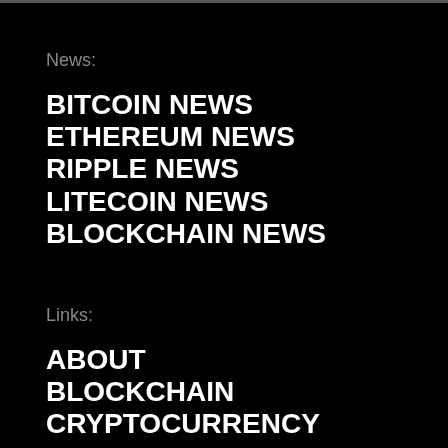News:
BITCOIN NEWS
ETHEREUM NEWS
RIPPLE NEWS
LITECOIN NEWS
BLOCKCHAIN NEWS
Links:
ABOUT
BLOCKCHAIN
CRYPTOCURRENCY